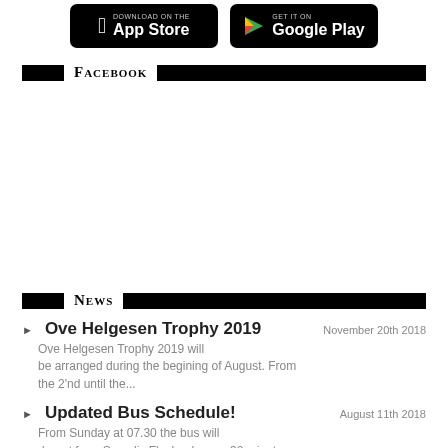[Figure (screenshot): App Store download button (black background, Apple logo, 'Download on the App Store' text)]
[Figure (screenshot): Google Play download button (black background, Google Play triangle logo, 'GET IT ON Google Play' text)]
Facebook
News
Ove Helgesen Trophy 2019  November 20th 2018
Ove Helgesen Trophy 2019 will be arranged during the begining of August. From the 2'nd until the...
Updated Bus Schedule!  August 11th 2018
From Sunday at 07.30 the bus will depart from Scandic Flesland every 30 minutes. After the first...